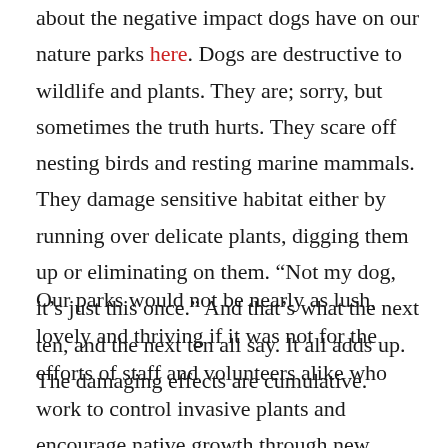about the negative impact dogs have on our nature parks here. Dogs are destructive to wildlife and plants. They are; sorry, but sometimes the truth hurts. They scare off nesting birds and resting marine mammals. They damage sensitive habitat either by running over delicate plants, digging them up or eliminating on them. “Not my dog, it’s just this once.” And that’s what the next ten, and the next ten all say. It all adds up. The damaging effects are cumulative.
Our parks would not be nearly as lush, lovely and thriving if it was not for the efforts of staff and volunteers alike who work to control invasive plants and encourage native growth through new plantings. That take both and encouraged and encouraged